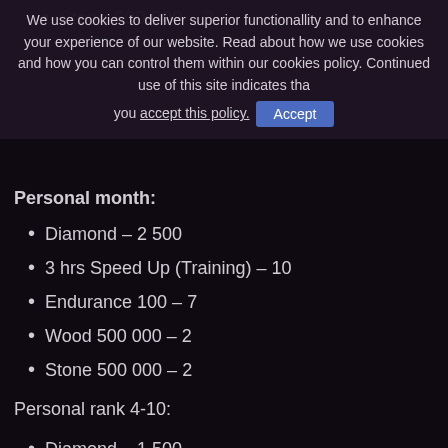Stone 500 000 – 3
We use cookies to deliver superior functionallity and to enhance your experience of our website. Read about how we use cookies and how you can control them within our cookies policy. Continued use of this site indicates that you accept this policy. [Accept]
Personal rank 1 month:
Diamond – 2 500
3 hrs Speed Up (Training) – 10
Endurance 100 – 7
Wood 500 000 – 2
Stone 500 000 – 2
Personal rank 4-10:
Diamond – 1 500
3 hrs Speed Up (Training) – 8
Endurance 100 – 6
Wood 500 000 – 1
Stone 500 000 – 1
Personal rank 11-30: